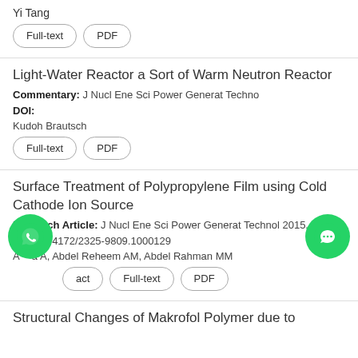Yi Tang
Full-text | PDF
Light-Water Reactor a Sort of Warm Neutron Reactor
Commentary: J Nucl Ene Sci Power Generat Techno
DOI:
Kudoh Brautsch
Full-text | PDF
Surface Treatment of Polypropylene Film using Cold Cathode Ion Source
Research Article: J Nucl Ene Sci Power Generat Technol 2015, 4:1
DOI: 10.4172/2325-9809.1000129
A***a A, Abdel Reheem AM, Abdel Rahman MM
act | Full-text | PDF
Structural Changes of Makrofol Polymer due to